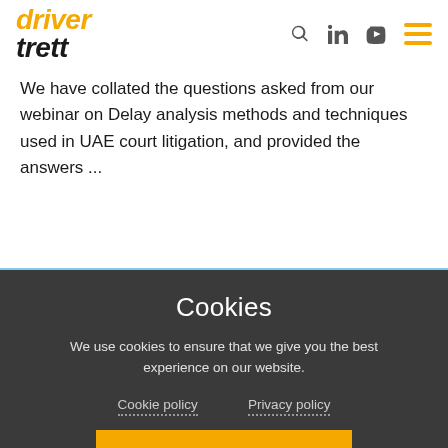[Figure (logo): Driver Trett logo — 'driver' in orange italic bold, 'trett' in black italic bold]
We have collated the questions asked from our webinar on Delay analysis methods and techniques used in UAE court litigation, and provided the answers ...
[Figure (photo): Blue sky with clouds, partial view cropped]
Cookies
We use cookies to ensure that we give you the best experience on our website.
Cookie policy   Privacy policy
ACCEPT COOKIES